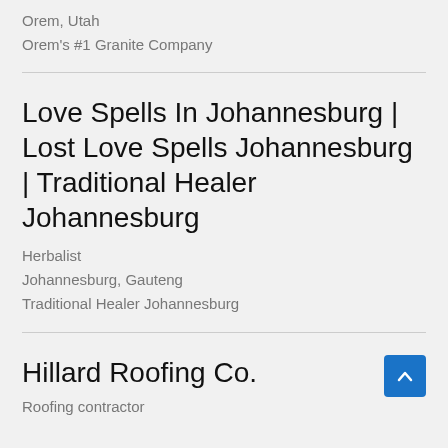Orem, Utah
Orem's #1 Granite Company
Love Spells In Johannesburg | Lost Love Spells Johannesburg | Traditional Healer Johannesburg
Herbalist
Johannesburg, Gauteng
Traditional Healer Johannesburg
Hillard Roofing Co.
Roofing contractor